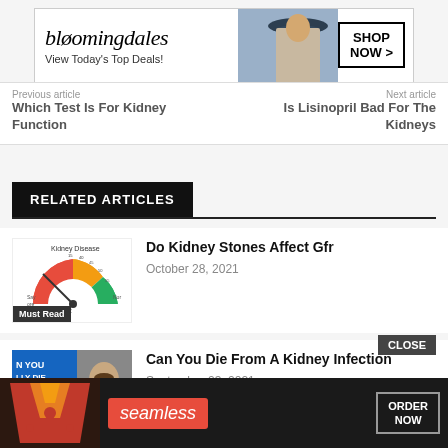[Figure (screenshot): Bloomingdale's advertisement banner: 'bloomingdales – View Today's Top Deals!' with model wearing hat and 'SHOP NOW >' button]
Previous article
Next article
Which Test Is For Kidney Function
Is Lisinopril Bad For The Kidneys
RELATED ARTICLES
[Figure (illustration): Kidney Disease GFR gauge chart – semicircular dial colored red/yellow/green with labels for stages]
Do Kidney Stones Affect Gfr
October 28, 2021
[Figure (screenshot): Video thumbnail: 'Can You Actually Die From Stage 4 Kidney Disease?' with man speaking]
Can You Die From A Kidney Infection
September 23, 2021
[Figure (screenshot): Seamless food delivery advertisement banner with pizza image, Seamless logo, and ORDER NOW button]